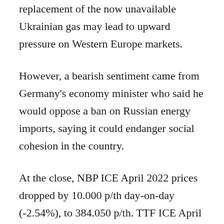replacement of the now unavailable Ukrainian gas may lead to upward pressure on Western Europe markets.
However, a bearish sentiment came from Germany's economy minister who said he would oppose a ban on Russian energy imports, saying it could endanger social cohesion in the country.
At the close, NBP ICE April 2022 prices dropped by 10.000 p/th day-on-day (-2.54%), to 384.050 p/th. TTF ICE April 2022 prices were down by €4.72 (-2.85%), closing at €160.823/MWh. On the far